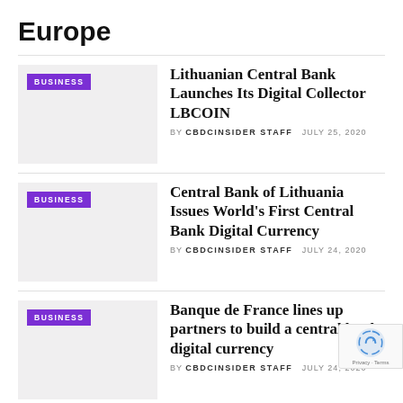Europe
Lithuanian Central Bank Launches Its Digital Collector LBCOIN
BY CBDCINSIDER STAFF   JULY 25, 2020
Central Bank of Lithuania Issues World's First Central Bank Digital Currency
BY CBDCINSIDER STAFF   JULY 24, 2020
Banque de France lines up partners to build a central bank digital currency
BY CBDCINSIDER STAFF   JULY 24, 2020